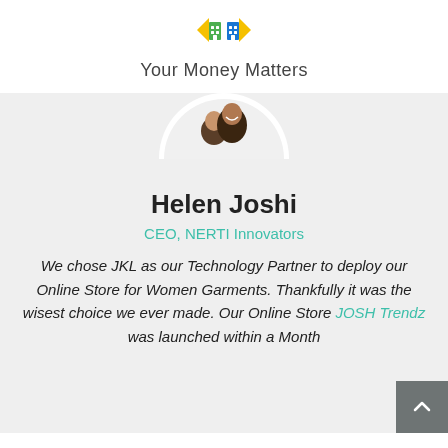[Figure (logo): JKL Your Money Matters logo with building/house icons in green and blue]
Your Money Matters
[Figure (photo): Circular profile photo showing two people (man and woman) cropped at top of gray section]
Helen Joshi
CEO, NERTI Innovators
We chose JKL as our Technology Partner to deploy our Online Store for Women Garments. Thankfully it was the wisest choice we ever made. Our Online Store JOSH Trendz was launched within a Month